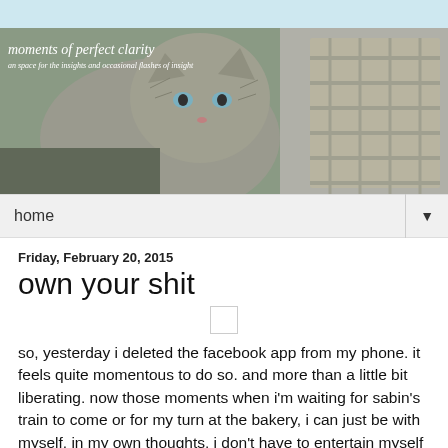[Figure (photo): Blog header image showing a fluffy grey kitten with blue eyes sitting in a wicker basket, with blog title 'moments of perfect clarity' overlaid]
home
Friday, February 20, 2015
own your shit
so, yesterday i deleted the facebook app from my phone. it feels quite momentous to do so. and more than a little bit liberating. now those moments when i'm waiting for sabin's train to come or for my turn at the bakery, i can just be with myself, in my own thoughts. i don't have to entertain myself with the inanities of the latest gizmodo or nytimes share or